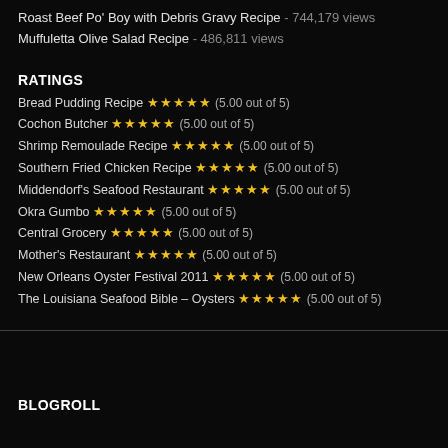Roast Beef Po' Boy with Debris Gravy Recipe - 744,179 views
Muffuletta Olive Salad Recipe - 486,811 views
RATINGS
Bread Pudding Recipe ★★★★★ (5.00 out of 5)
Cochon Butcher ★★★★★ (5.00 out of 5)
Shrimp Remoulade Recipe ★★★★★ (5.00 out of 5)
Southern Fried Chicken Recipe ★★★★★ (5.00 out of 5)
Middendorf's Seafood Restaurant ★★★★★ (5.00 out of 5)
Okra Gumbo ★★★★★ (5.00 out of 5)
Central Grocery ★★★★★ (5.00 out of 5)
Mother's Restaurant ★★★★★ (5.00 out of 5)
New Orleans Oyster Festival 2011 ★★★★★ (5.00 out of 5)
The Louisiana Seafood Bible – Oysters ★★★★★ (5.00 out of 5)
BLOGROLL